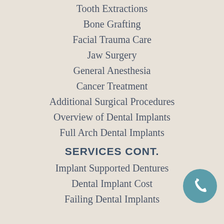Tooth Extractions
Bone Grafting
Facial Trauma Care
Jaw Surgery
General Anesthesia
Cancer Treatment
Additional Surgical Procedures
Overview of Dental Implants
Full Arch Dental Implants
SERVICES CONT.
Implant Supported Dentures
Dental Implant Cost
Failing Dental Implants
[Figure (illustration): Teal circular phone/call button icon in bottom right corner]